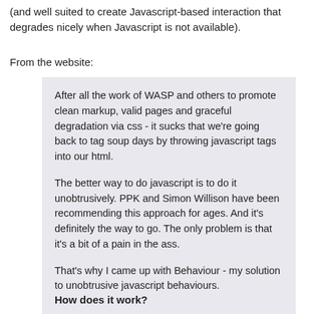(and well suited to create Javascript-based interaction that degrades nicely when Javascript is not available).
From the website:
After all the work of WASP and others to promote clean markup, valid pages and graceful degradation via css - it sucks that we're going back to tag soup days by throwing javascript tags into our html.
The better way to do javascript is to do it unobtrusively. PPK and Simon Willison have been recommending this approach for ages. And it's definitely the way to go. The only problem is that it's a bit of a pain in the ass.
That's why I came up with Behaviour - my solution to unobtrusive javascript behaviours.
How does it work?
Behaviour lets you use CSS selectors to specify elements to add javascript events to. This means that instead of writing: